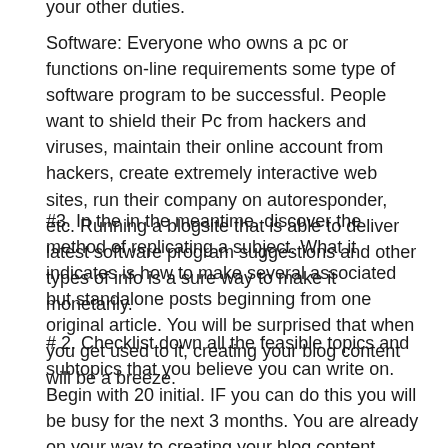your other duties.
Software: Everyone who owns a pc or functions on-line requirements some type of software program to be successful. People want to shield their Pc from hackers and viruses, maintain their online account from hackers, create extremely interactive web sites, run their company on autoresponder, etc. Running a blogsite that is able to deliver latest software program suggestions and other types of info is a sure way to make it monetarily.
#3. In the in the meantime, discover the method of replicating a subject. What it indicates is how to make several associated but standalone posts beginning from one original article. You will be surprised that when you get used to it, creating your blog content will be a breeze.
# 2. Checklist down all the feasible topics and subtopics that you believe you can write on. Begin with 20 initial. IF you can do this you will be busy for the next 3 months. You are already on your way to creating your blog content material. Your topic may be futsal but your subtopics can be shoes for futsal, jerseys to put on, how to organize tournaments, etc.
Registration is simple however it does need that you provide a legitimate credit score card or financial institution account. This is to